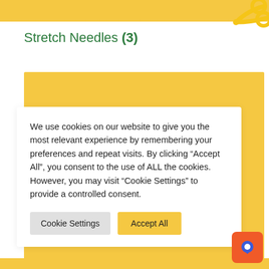[Figure (illustration): Yellow dashed top border strip with scissors icon in top right corner]
Stretch Needles (3)
[Figure (screenshot): Cookie consent dialog overlay on a yellow background. Dialog contains text about cookie usage and two buttons: 'Cookie Settings' and 'Accept All'.]
We use cookies on our website to give you the most relevant experience by remembering your preferences and repeat visits. By clicking “Accept All”, you consent to the use of ALL the cookies. However, you may visit "Cookie Settings" to provide a controlled consent.